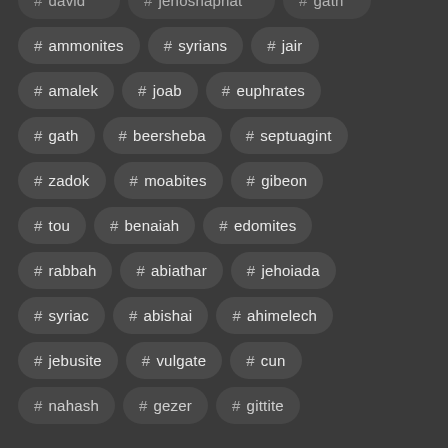# ammonites
# syrians
# jair
# amalek
# joab
# euphrates
# gath
# beersheba
# septuagint
# zadok
# moabites
# gibeon
# tou
# benaiah
# edomites
# rabbah
# abiathar
# jehoiada
# syriac
# abishai
# ahimelech
# jebusite
# vulgate
# cun
# nahash
# gezer
# gittite